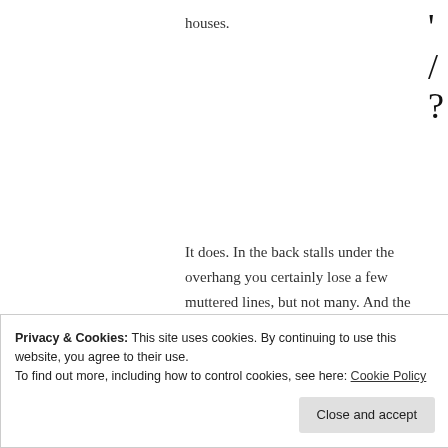houses.
It does. In the back stalls under the overhang you certainly lose a few muttered lines, but not many. And the fascination of the real-time unfolding of a relationship holds you, as the tipsy, clumsy, lonely pair navigate the aftermath of Laura’s flat-warming party, cooling and warming (“I love a Scotch eggs!” “So do I!”) as they
Privacy & Cookies: This site uses cookies. By continuing to use this website, you agree to their use.
To find out more, including how to control cookies, see here: Cookie Policy